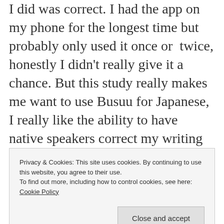I did was correct. I had the app on my phone for the longest time but probably only used it once or  twice, honestly I didn't really give it a chance. But this study really makes me want to use Busuu for Japanese, I really like the ability to have native speakers correct my writing and speaking! they also have a chat function on their site to speak to people and help each other learn. So I definitely have to qualify for the last test to get that premium
Privacy & Cookies: This site uses cookies. By continuing to use this website, you agree to their use.
To find out more, including how to control cookies, see here: Cookie Policy
N4 list.